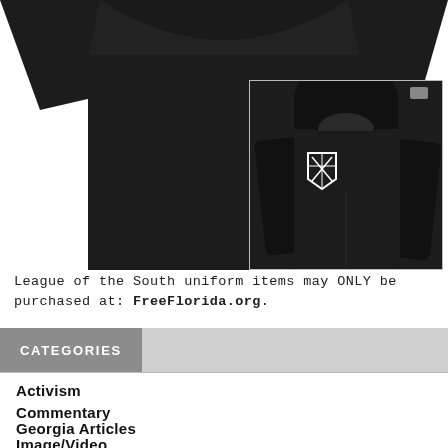[Figure (photo): Black t-shirt displayed flat, with a smaller inset image of a black hoodie featuring a white shield/cross logo on the left chest. Both items are black apparel shown against a white background.]
League of the South uniform items may ONLY be purchased at: FreeFlorida.org.
CATEGORIES
Activism
Commentary
Georgia Articles
Image/Video